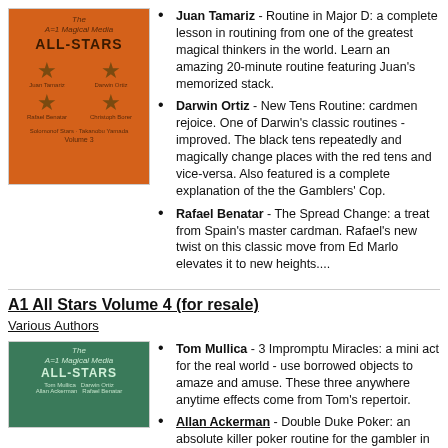[Figure (photo): Orange book cover for A1 Magical Media All-Stars DVD]
Juan Tamariz - Routine in Major D: a complete lesson in routining from one of the greatest magical thinkers in the world. Learn an amazing 20-minute routine featuring Juan's memorized stack.
Darwin Ortiz - New Tens Routine: cardmen rejoice. One of Darwin's classic routines - improved. The black tens repeatedly and magically change places with the red tens and vice-versa. Also featured is a complete explanation of the the Gamblers' Cop.
Rafael Benatar - The Spread Change: a treat from Spain's master cardman. Rafael's new twist on this classic move from Ed Marlo elevates it to new heights....
A1 All Stars Volume 4 (for resale)
Various Authors
[Figure (photo): Green book cover for A1 Magical Media All-Stars DVD Volume 4]
Tom Mullica - 3 Impromptu Miracles: a mini act for the real world - use borrowed objects to amaze and amuse. These three anywhere anytime effects come from Tom's repertoir.
Allan Ackerman - Double Duke Poker: an absolute killer poker routine for the gambler in...